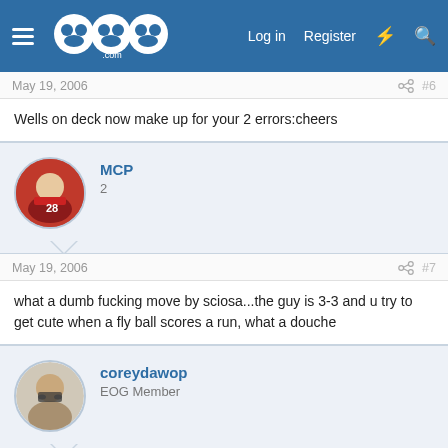GoG.com — Log in | Register
May 19, 2006  #6
Wells on deck now make up for your 2 errors:cheers
MCP
2
May 19, 2006  #7
what a dumb fucking move by sciosa...the guy is 3-3 and u try to get cute when a fly ball scores a run, what a douche
coreydawop
EOG Member
May 19, 2006  #8
Jays need a miracle 1st and 3rd no outs bot 9... Downs coming in Jays are done.